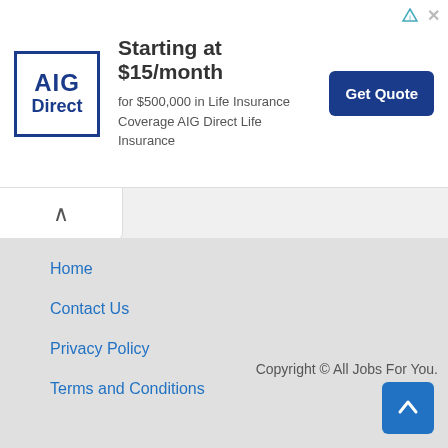[Figure (logo): AIG Direct advertisement banner with logo, headline 'Starting at $15/month for $500,000 in Life Insurance Coverage AIG Direct Life Insurance', and a 'Get Quote' button]
Home
Contact Us
Privacy Policy
Terms and Conditions
Copyright © All Jobs For You.